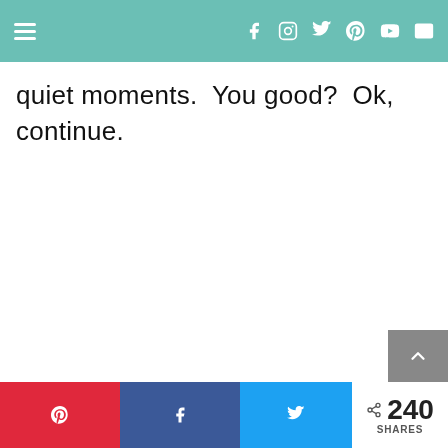Navigation header with hamburger menu and social icons (Facebook, Instagram, Twitter, Pinterest, YouTube, Email)
quiet moments.  You good?  Ok, continue.
Pinterest share button, Facebook share button, Twitter share button, 240 SHARES